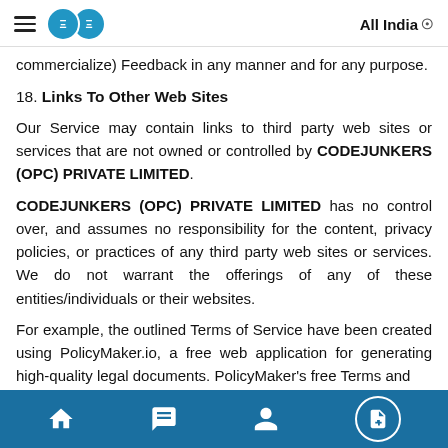All India
commercialize) Feedback in any manner and for any purpose.
18. Links To Other Web Sites
Our Service may contain links to third party web sites or services that are not owned or controlled by CODEJUNKERS (OPC) PRIVATE LIMITED.
CODEJUNKERS (OPC) PRIVATE LIMITED has no control over, and assumes no responsibility for the content, privacy policies, or practices of any third party web sites or services. We do not warrant the offerings of any of these entities/individuals or their websites.
For example, the outlined Terms of Service have been created using PolicyMaker.io, a free web application for generating high-quality legal documents. PolicyMaker's free Terms and
Navigation bar with home, chat, profile, and document icons